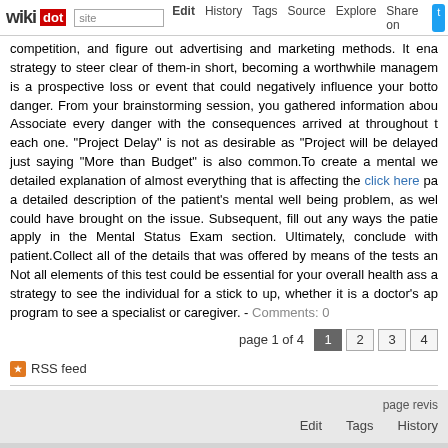wikidot | site Edit History Tags Source Explore Share on
competition, and figure out advertising and marketing methods. It ena strategy to steer clear of them-in short, becoming a worthwhile managem is a prospective loss or event that could negatively influence your botto danger. From your brainstorming session, you gathered information abou Associate every danger with the consequences arrived at throughout t each one. "Project Delay" is not as desirable as "Project will be delayed just saying "More than Budget" is also common.To create a mental we detailed explanation of almost everything that is affecting the click here pa a detailed description of the patient's mental well being problem, as wel could have brought on the issue. Subsequent, fill out any ways the patie apply in the Mental Status Exam section. Ultimately, conclude with patient.Collect all of the details that was offered by means of the tests an Not all elements of this test could be essential for your overall health ass a strategy to see the individual for a stick to up, whether it is a doctor's ap program to see a specialist or caregiver. - Comments: 0
page 1 of 4  1  2  3  4
RSS feed
page revis  Edit  Tags  History
Powered by Wikidot.com  Unless otherwise stated, the content of this page is lice